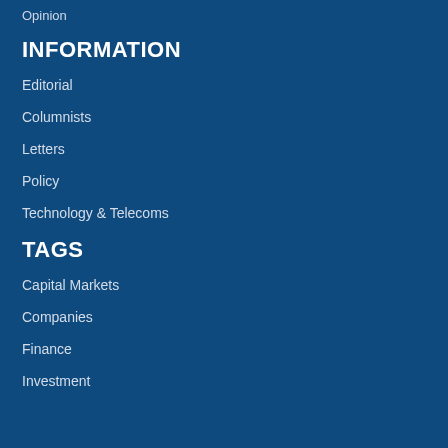Opinion
INFORMATION
Editorial
Columnists
Letters
Policy
Technology & Telecoms
TAGS
Capital Markets
Companies
Finance
Investment